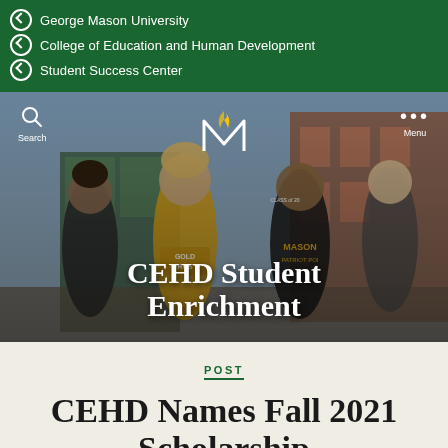George Mason University | College of Education and Human Development | Student Success Center
[Figure (photo): Hero banner photo showing smiling students in George Mason University gold and green apparel walking outside a brick building. Overlay text reads 'CEHD Student Enrichment' with Mason M logo. Search and Menu UI elements visible.]
POST
CEHD Names Fall 2021 Scholarship